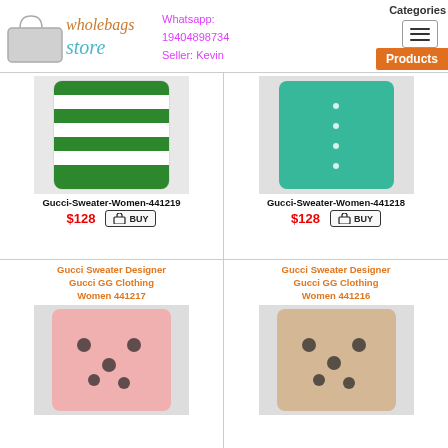[Figure (logo): WholeBags Store logo with handbag icon]
Whatsapp: 19404898734
Seller: Kevin
Categories
Products
[Figure (photo): Green and white striped women's Gucci cardigan sweater]
Gucci-Sweater-Women-441219
$128
[Figure (photo): Teal/turquoise women's Gucci cardigan sweater]
Gucci-Sweater-Women-441218
$128
Gucci Sweater Designer Gucci GG Clothing Women 441217
[Figure (photo): Pink women's Gucci Mickey Mouse print cardigan sweater]
Gucci Sweater Designer Gucci GG Clothing Women 441216
[Figure (photo): Beige women's Gucci Mickey Mouse print cardigan sweater]